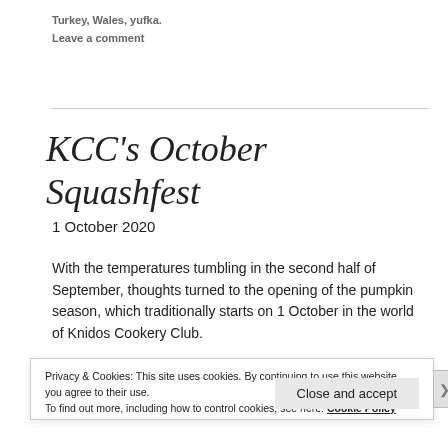Turkey, Wales, yufka.
Leave a comment
KCC's October Squashfest
1 October 2020
With the temperatures tumbling in the second half of September, thoughts turned to the opening of the pumpkin season, which traditionally starts on 1 October in the world of Knidos Cookery Club.
Privacy & Cookies: This site uses cookies. By continuing to use this website, you agree to their use.
To find out more, including how to control cookies, see here: Cookie Policy
Close and accept